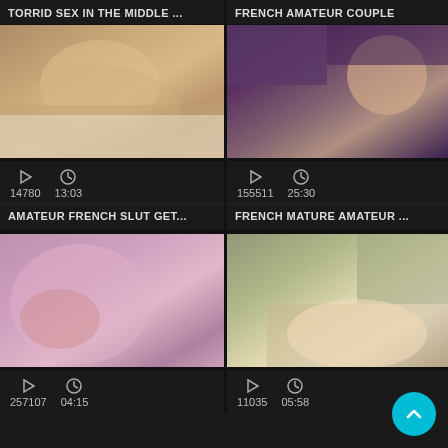TORRID SEX IN THE MIDDLE ...
FRENCH AMATEUR COUPLE
[Figure (photo): Video thumbnail - person lying on bed, blonde hair, skin tones]
[Figure (photo): Video thumbnail - dark purple background, close-up]
14780   13:03
155511   25:30
AMATEUR FRENCH SLUT GET...
FRENCH MATURE AMATEUR ...
[Figure (photo): Video thumbnail - pink/purple blurry close-up]
[Figure (photo): Video thumbnail - person on bed in bright room with floral wallpaper]
257107   04:15
11035   05:58